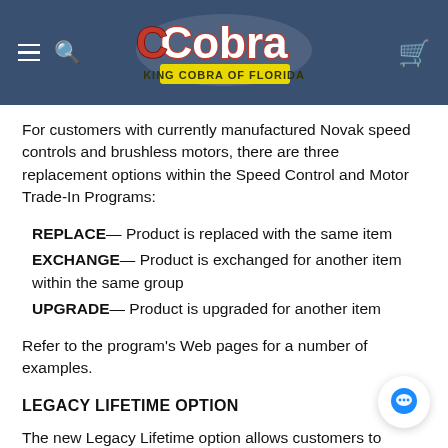[Figure (logo): King Cobra of Florida logo on dark blue navigation header with hamburger menu, search icon, and cart icon]
For customers with currently manufactured Novak speed controls and brushless motors, there are three replacement options within the Speed Control and Motor Trade-In Programs:
REPLACE— Product is replaced with the same item
EXCHANGE— Product is exchanged for another item within the same group
UPGRADE— Product is upgraded for another item
Refer to the program's Web pages for a number of examples.
LEGACY LIFETIME OPTION
The new Legacy Lifetime option allows customers to return a discontinued Novak speed control (brush or brushless) or ANY discontinued Novak brushless motor, and upgrade to one of Novak's